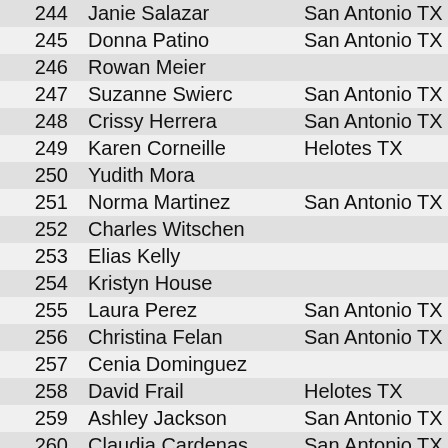| # | Name | City | Value |
| --- | --- | --- | --- |
| 244 | Janie Salazar | San Antonio TX | 29 |
| 245 | Donna Patino | San Antonio TX | 73 |
| 246 | Rowan Meier |  | 70 |
| 247 | Suzanne Swierc | San Antonio TX | 37 |
| 248 | Crissy Herrera | San Antonio TX | 39 |
| 249 | Karen Corneille | Helotes TX | 38 |
| 250 | Yudith Mora |  | 71 |
| 251 | Norma Martinez | San Antonio TX | 37 |
| 252 | Charles Witschen |  | 39 |
| 253 | Elias Kelly |  | 38 |
| 254 | Kristyn House |  | 39 |
| 255 | Laura Perez | San Antonio TX | 36 |
| 256 | Christina Felan | San Antonio TX | 39 |
| 257 | Cenia Dominguez |  | 38 |
| 258 | David Frail | Helotes TX | 34 |
| 259 | Ashley Jackson | San Antonio TX | 39 |
| 260 | Claudia Cardenas | San Antonio TX | 38 |